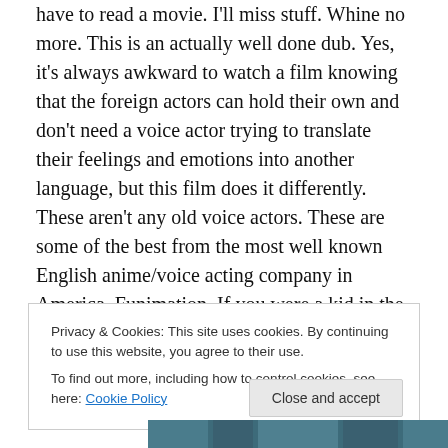have to read a movie. I'll miss stuff. Whine no more. This is an actually well done dub. Yes, it's always awkward to watch a film knowing that the foreign actors can hold their own and don't need a voice actor trying to translate their feelings and emotions into another language, but this film does it differently. These aren't any old voice actors. These are some of the best from the most well known English anime/voice acting company in America. Funimation. If you were a kid in the late 90's and early 2000's, you'll know of their talent from Toonami. Dragonball Z, Yu Yu Hakusho, all these anime and more
Privacy & Cookies: This site uses cookies. By continuing to use this website, you agree to their use.
To find out more, including how to control cookies, see here: Cookie Policy
Close and accept
[Figure (photo): Partial view of a city building image at the bottom of the page]